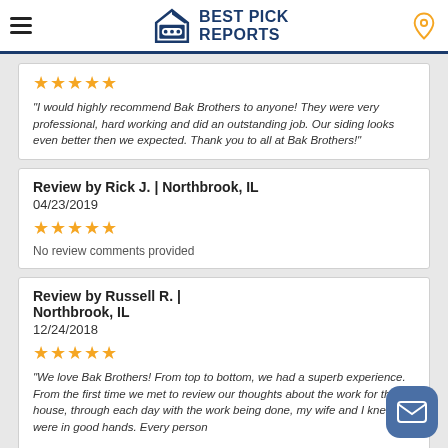Best Pick Reports
★★★★★
"I would highly recommend Bak Brothers to anyone! They were very professional, hard working and did an outstanding job. Our siding looks even better then we expected. Thank you to all at Bak Brothers!"
Review by Rick J. | Northbrook, IL
04/23/2019
★★★★★
No review comments provided
Review by Russell R. | Northbrook, IL
12/24/2018
★★★★★
"We love Bak Brothers! From top to bottom, we had a superb experience. From the first time we met to review our thoughts about the work for the house, through each day with the work being done, my wife and I knew we were in good hands. Every person